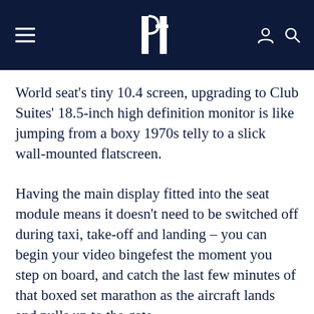BE (logo) hamburger menu, user icon, search icon
World seat’s tiny 10.4 screen, upgrading to Club Suites’ 18.5-inch high definition monitor is like jumping from a boxy 1970s telly to a slick wall-mounted flatscreen.
Having the main display fitted into the seat module means it doesn’t need to be switched off during taxi, take-off and landing – you can begin your video bingefest the moment you step on board, and catch the last few minutes of that boxed set marathon as the aircraft lands and pulls up to the gate.